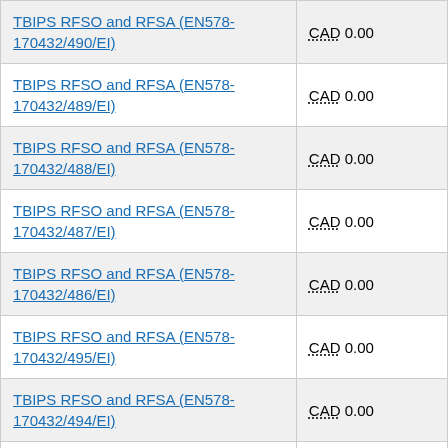| Contract | Amount |
| --- | --- |
| TBIPS RFSO and RFSA (EN578-170432/490/EI) | CAD 0.00 |
| TBIPS RFSO and RFSA (EN578-170432/489/EI) | CAD 0.00 |
| TBIPS RFSO and RFSA (EN578-170432/488/EI) | CAD 0.00 |
| TBIPS RFSO and RFSA (EN578-170432/487/EI) | CAD 0.00 |
| TBIPS RFSO and RFSA (EN578-170432/486/EI) | CAD 0.00 |
| TBIPS RFSO and RFSA (EN578-170432/495/EI) | CAD 0.00 |
| TBIPS RFSO and RFSA (EN578-170432/494/EI) | CAD 0.00 |
| TBIPS RFSO and RFSA (EN578-170432/493/EI) | CAD 0.00 |
| TBIPS RFSO and RFSA (EN578-170432/502/EI) | CAD 0.00 |
| TBIPS RFSO and RFSA (EN578-170432/501/EI) | CAD 0.00 |